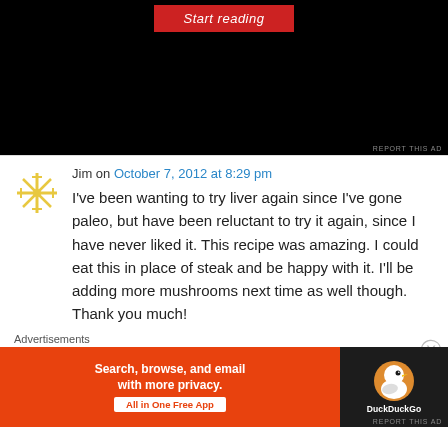[Figure (screenshot): Top portion of a dark/black advertisement banner with a red 'Start reading' button and 'REPORT THIS AD' text in lower right.]
Jim on October 7, 2012 at 8:29 pm
I've been wanting to try liver again since I've gone paleo, but have been reluctant to try it again, since I have never liked it. This recipe was amazing. I could eat this in place of steak and be happy with it. I'll be adding more mushrooms next time as well though. Thank you much!
Advertisements
[Figure (screenshot): DuckDuckGo advertisement: orange background on left with text 'Search, browse, and email with more privacy. All in One Free App', dark right panel with DuckDuckGo logo and duck icon.]